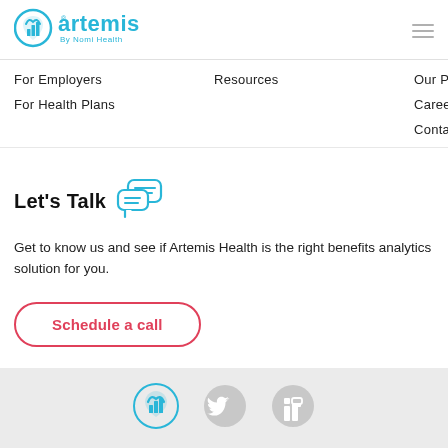[Figure (logo): Artemis by Nomi Health logo — blue shield/heart icon with 'artemis' wordmark and 'By Nomi Health' subtitle]
[Figure (other): Hamburger menu icon (three horizontal lines)]
For Employers
Resources
Our Promise
For Health Plans
Careers
Contact Us
Let's Talk
Get to know us and see if Artemis Health is the right benefits analytics solution for you.
Schedule a call
[Figure (logo): Artemis blue shield/heart logo icon in footer]
[Figure (logo): Twitter bird icon (gray) in footer]
[Figure (logo): LinkedIn 'in' icon (gray) in footer]